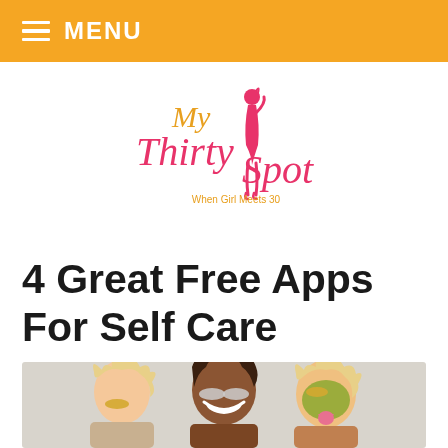MENU
[Figure (logo): My Thirty Spot — When Girl Meets 30 logo with illustrated woman figure in pink/red and gold script text]
4 Great Free Apps For Self Care
[Figure (photo): Three women with face masks and eye patches smiling, one sticking out tongue]